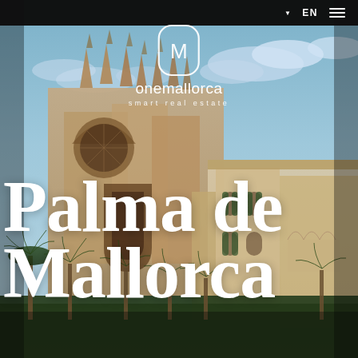[Figure (photo): Aerial/street-level photo of Palma de Mallorca cathedral (La Seu) and adjacent palace buildings with palm trees in foreground, blue sky with clouds]
▼ EN  ☰
[Figure (logo): One Mallorca logo: rounded rectangle badge with letter M, text 'onemallorca' and 'smart real estate']
Palma de Mallorca